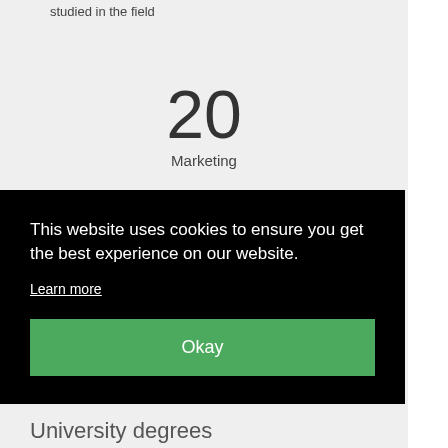studied in the field
20
Marketing
15
Design and Visual Communications, General
This website uses cookies to ensure you get the best experience on our website.
Learn more
Okay
University degrees